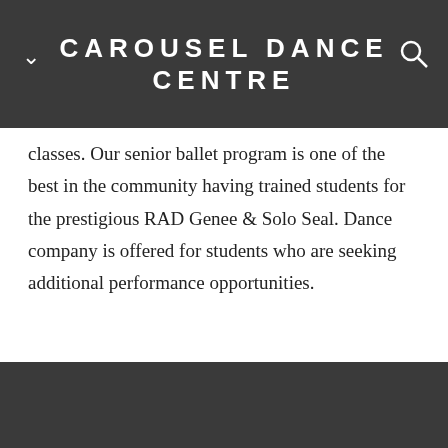CAROUSEL DANCE CENTRE
classes.  Our senior ballet program is one of the best in the community having trained students for the prestigious RAD Genee & Solo Seal.  Dance company is offered for students who are seeking additional performance opportunities.
CAROUSEL
REGISTER NOW
CONTACT US